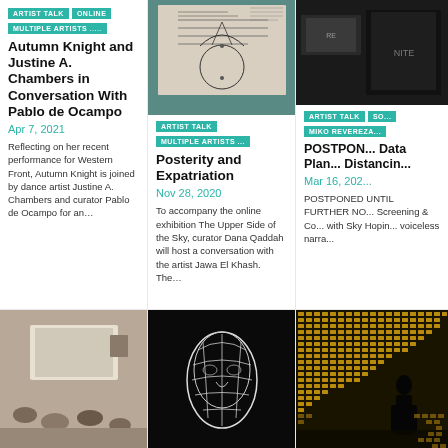ARTIST TALK | ONLINE | MULTIPLE ARTISTS ...
Autumn Knight and Justine A. Chambers in Conversation With Pablo de Ocampo
Apr 7, 2021
Reflecting on her recent performance for Western Front, Autumn Knight is joined by dance artist Justine A. Chambers and curator Pablo de Ocampo for an…
[Figure (photo): Geometric diagram with circles and arcs on paper, teal/grey background]
ARTIST TALK | MULTIPLE ARTISTS ...
Posterity and Expatriation
Nov 28, 2020
To accompany the online exhibition The Upper Side of the Sky, curator Dana Qaddah will host a conversation with the artist Jawa El Khash. The…
ARTIST TALK | SO... | MIKO REVEREZA...
POSTPONED Data Plan... Distancing...
Mar 16, 202...
POSTPONED UNTIL FURTHER NO... Screening & Co... with Sky Hopin... voiceless narra...
[Figure (photo): Indoor room with people sitting watching a screen projection]
[Figure (photo): Close-up of a white mesh sculpture resembling a face/mask on black background]
[Figure (photo): Yellow grid pattern with silhouette of a person]